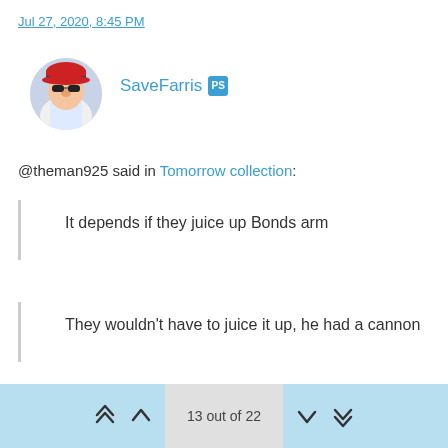Jul 27, 2020, 8:45 PM
[Figure (illustration): Circular avatar of SaveFarris user showing a cartoon figure]
SaveFarris [PlayStation icon]
@theman925 said in Tomorrow collection:
It depends if they juice up Bonds arm
They wouldn't have to juice it up, he had a cannon
This guy disagrees...
https://thumbs.gfycat.com/ExhaustedUnacceptableBlackpanther.webp
13 out of 22